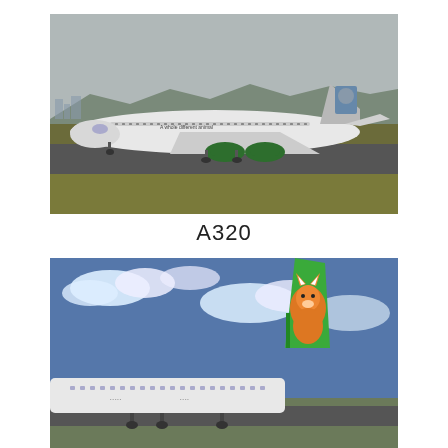[Figure (photo): A Frontier Airlines Airbus A320 aircraft on a runway taxiway. The plane is white with green engines and has an animal livery on the tail (appears to be a mountain lion or similar animal). Text on fuselage reads 'A whole different animal'. Mountains and buildings visible in background. Overcast sky.]
A320
[Figure (photo): Bottom portion of a Frontier Airlines aircraft showing the tail section with a green tail fin featuring an orange/red fox animal livery. Cloudy blue sky in background. The aircraft is on the ground at an airport.]